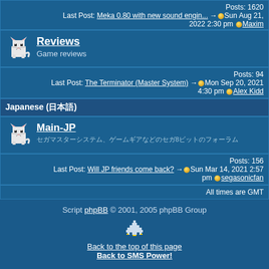Posts: 1620
Last Post: Meka 0.80 with new sound engin... → Sun Aug 21, 2022 2:30 pm ● Maxim
[Figure (illustration): Pixel art cat mascot icon for Reviews forum]
Reviews
Game reviews
Posts: 94
Last Post: The Terminator (Master System) → Mon Sep 20, 2021 4:30 pm ● Alex Kidd
Japanese (日本語)
[Figure (illustration): Pixel art cat mascot icon for Main-JP forum]
Main-JP
セガマスターシステム、ゲームギアなどのセガ8ビットのフォーラム
Posts: 156
Last Post: Will JP friends come back? → Sun Mar 14, 2021 2:57 pm ● segasonicfan
All times are GMT
Script phpBB © 2001, 2005 phpBB Group
[Figure (illustration): Small pixel art spaceship icon]
Back to the top of this page
Back to SMS Power!